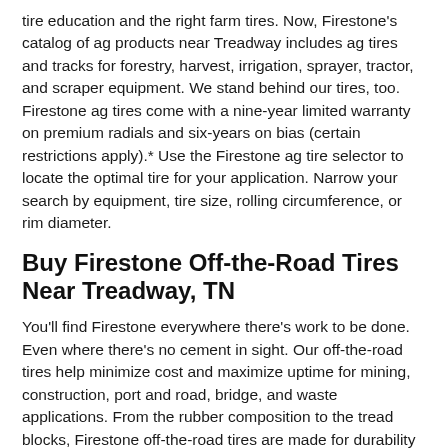tire education and the right farm tires. Now, Firestone's catalog of ag products near Treadway includes ag tires and tracks for forestry, harvest, irrigation, sprayer, tractor, and scraper equipment. We stand behind our tires, too. Firestone ag tires come with a nine-year limited warranty on premium radials and six-years on bias (certain restrictions apply).* Use the Firestone ag tire selector to locate the optimal tire for your application. Narrow your search by equipment, tire size, rolling circumference, or rim diameter.
Buy Firestone Off-the-Road Tires Near Treadway, TN
You'll find Firestone everywhere there's work to be done. Even where there's no cement in sight. Our off-the-road tires help minimize cost and maximize uptime for mining, construction, port and road, bridge, and waste applications. From the rubber composition to the tread blocks, Firestone off-the-road tires are made for durability and versatility. Just take a look at VersaBuilt tires. VersaBuilt heavy-equipment tires will help you get the job done, no matter how harsh the conditions. Non-directional tread gives extra traction, while SideArmor™ sidewalls and steel